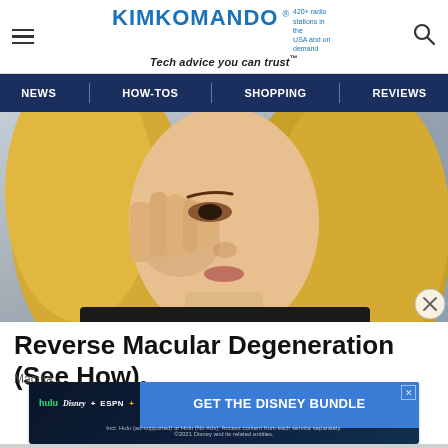KIMKOMANDO® 420+ radio stations in the USA and on demand — Tech advice you can trust™
NEWS | HOW-TOS | SHOPPING | REVIEWS
[Figure (photo): Blonde woman rubbing/touching her eye with her hand, appearing to have eye discomfort, shot outdoors with blurred background]
Reverse Macular Degeneration (See How).
Macula...
[Figure (infographic): Disney Bundle advertisement: hulu, Disney+, ESPN+ logos on dark background with 'GET THE DISNEY BUNDLE' call to action button. Fine print: Incl. Hulu (ad-supported) or Hulu (No Ads). Access content from each service separately. ©2021 Disney and its related entities.]